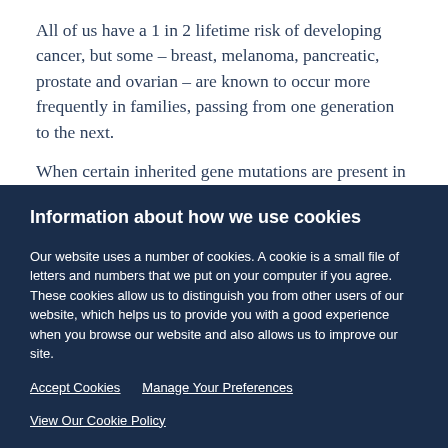All of us have a 1 in 2 lifetime risk of developing cancer, but some – breast, melanoma, pancreatic, prostate and ovarian – are known to occur more frequently in families, passing from one generation to the next.
When certain inherited gene mutations are present in
Information about how we use cookies
Our website uses a number of cookies. A cookie is a small file of letters and numbers that we put on your computer if you agree. These cookies allow us to distinguish you from other users of our website, which helps us to provide you with a good experience when you browse our website and also allows us to improve our site.
Accept Cookies    Manage Your Preferences
View Our Cookie Policy